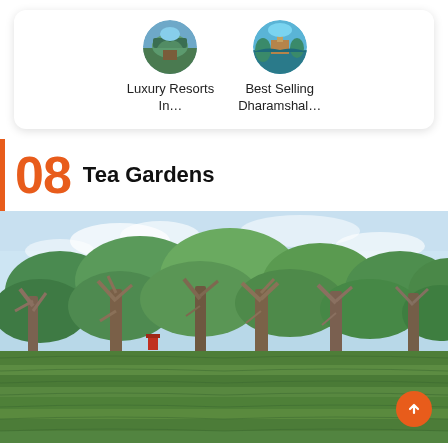[Figure (illustration): Two circular thumbnail images side by side: left shows a mountain/resort scene, right shows a coastal/Dharamshala scene, with labels below each]
Luxury Resorts In…
Best Selling Dharamshal…
08  Tea Gardens
[Figure (photo): A lush tea garden with rows of tea bushes in the foreground and tall trees in the background under a partly cloudy sky]